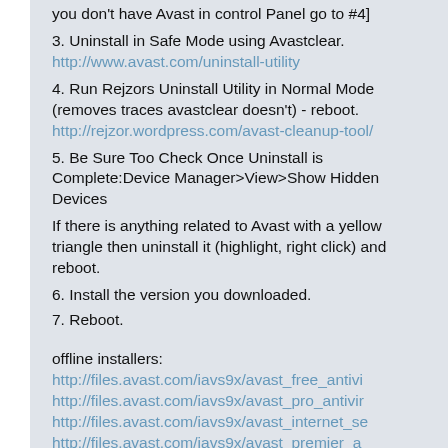you don't have Avast in control Panel go to #4]
3. Uninstall in Safe Mode using Avastclear.
http://www.avast.com/uninstall-utility
4. Run Rejzors Uninstall Utility in Normal Mode (removes traces avastclear doesn't) - reboot.
http://rejzor.wordpress.com/avast-cleanup-tool/
5. Be Sure Too Check Once Uninstall is Complete:Device Manager>View>Show Hidden Devices
If there is anything related to Avast with a yellow triangle then uninstall it (highlight, right click) and reboot.
6. Install the version you downloaded.
7. Reboot.
offline installers:
http://files.avast.com/iavs9x/avast_free_antivi
http://files.avast.com/iavs9x/avast_pro_antivir
http://files.avast.com/iavs9x/avast_internet_se
http://files.avast.com/iavs9x/avast_premier_a